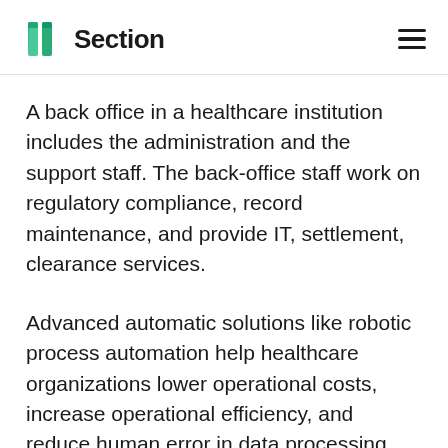Section
A back office in a healthcare institution includes the administration and the support staff. The back-office staff work on regulatory compliance, record maintenance, and provide IT, settlement, clearance services.
Advanced automatic solutions like robotic process automation help healthcare organizations lower operational costs, increase operational efficiency, and reduce human error in data processing. RPA